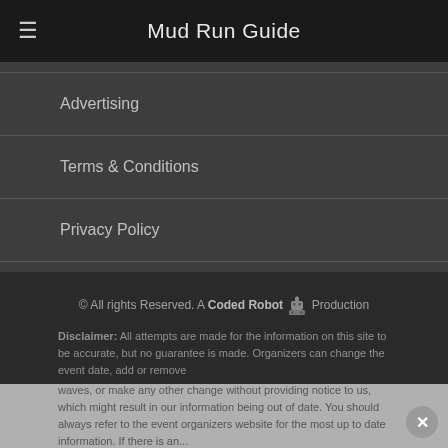Mud Run Guide
Advertising
Terms & Conditions
Privacy Policy
© All rights Reserved. A Coded Robot Production
Disclaimer: All attempts are made for the information on this site to be accurate, but no guarantee is made. Organizers can change the event date, add or remove waves, or make any other change without providing notice to us, which might result in our information being out of date. You should always refer to the event organizers website for the most up to date information. If there is an...